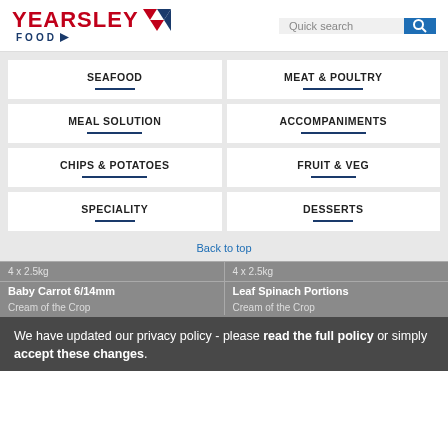Yearsley Food | Quick search
SEAFOOD
MEAT & POULTRY
MEAL SOLUTION
ACCOMPANIMENTS
CHIPS & POTATOES
FRUIT & VEG
SPECIALITY
DESSERTS
Back to top
4 x 2.5kg
4 x 2.5kg
Baby Carrot 6/14mm
Leaf Spinach Portions
Cream of the Crop
Cream of the Crop
We have updated our privacy policy - please read the full policy or simply accept these changes.